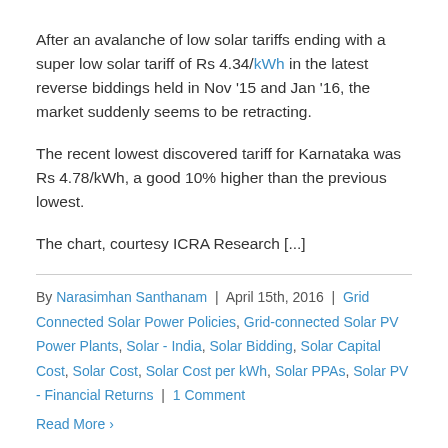After an avalanche of low solar tariffs ending with a super low solar tariff of Rs 4.34/kWh in the latest reverse biddings held in Nov '15 and Jan '16, the market suddenly seems to be retracting.
The recent lowest discovered tariff for Karnataka was Rs 4.78/kWh, a good 10% higher than the previous lowest.
The chart, courtesy ICRA Research [...]
By Narasimhan Santhanam | April 15th, 2016 | Grid Connected Solar Power Policies, Grid-connected Solar PV Power Plants, Solar - India, Solar Bidding, Solar Capital Cost, Solar Cost, Solar Cost per kWh, Solar PPAs, Solar PV - Financial Returns | 1 Comment
Read More >